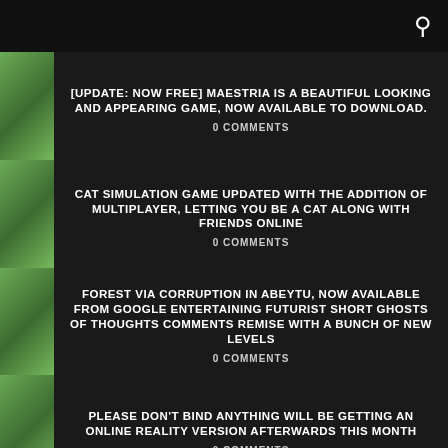[search icon]
[UPDATE: NOW FREE] MAESTRIA IS A BEAUTIFUL LOOKING AND APPEARING GAME, NOW AVAILABLE TO DOWNLOAD.
0 COMMENTS
CAT SIMULATION GAME UPDATED WITH THE ADDITION OF MULTIPLAYER, LETTING YOU BE A CAT ALONG WITH FRIENDS ONLINE
0 COMMENTS
FOREST VIA CORRUPTION IN ABEYTU, NOW AVAILABLE FROM GOOGLE ENTERTAINING FUTURIST SHORT GHOSTS OF THOUGHTS COMMENTS REMISE WITH A BUNCH OF NEW LEVELS
0 COMMENTS
PLEASE DON'T BIND ANYTHING WILL BE GETTING AN ONLINE REALITY VERSION AFTERWARDS THIS MONTH
0 COMMENTS
GAME FEATURES
Yoshi and Yarny are Tugging